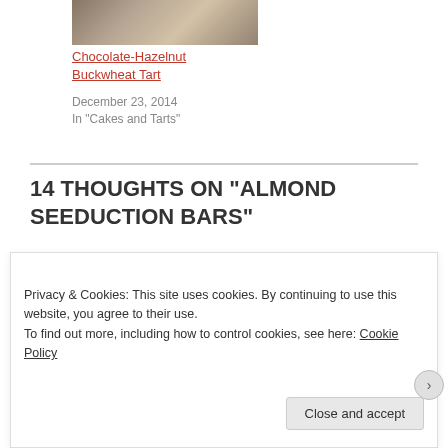[Figure (photo): Thumbnail image of a chocolate-hazelnut buckwheat tart on a plate]
Chocolate-Hazelnut Buckwheat Tart
December 23, 2014
In "Cakes and Tarts"
14 THOUGHTS ON “ALMOND SEEDUCTION BARS”
Privacy & Cookies: This site uses cookies. By continuing to use this website, you agree to their use.
To find out more, including how to control cookies, see here: Cookie Policy